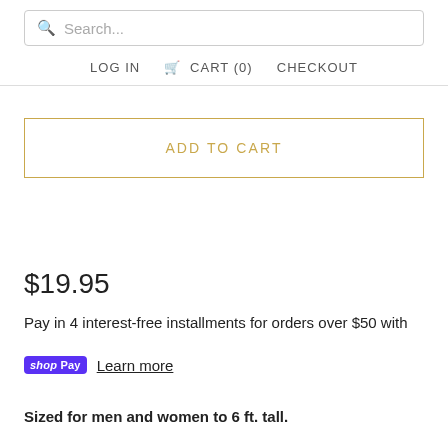Search...
LOG IN   CART (0)   CHECKOUT
ADD TO CART
$19.95
Pay in 4 interest-free installments for orders over $50 with shopPay Learn more
Sized for men and women to 6 ft. tall.